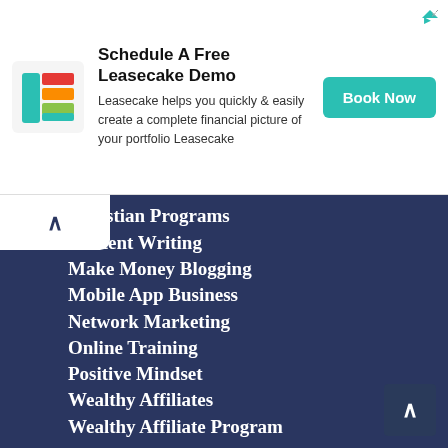[Figure (screenshot): Advertisement banner for Leasecake with logo, text 'Schedule A Free Leasecake Demo', description text, and a teal 'Book Now' button]
Christian Programs
Content Writing
Make Money Blogging
Mobile App Business
Network Marketing
Online Training
Positive Mindset
Wealthy Affiliates
Wealthy Affiliate Program